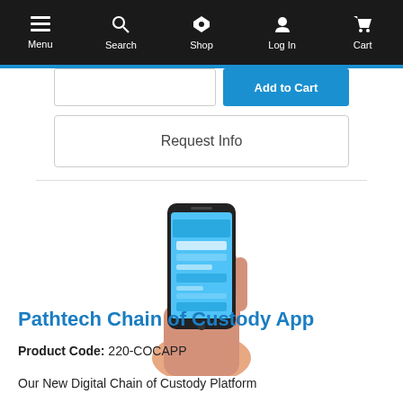Menu | Search | Shop | Log In | Cart
[Figure (screenshot): Partial Add to Cart row with quantity input box and blue Add to Cart button]
Request Info
[Figure (photo): Hand holding a smartphone displaying the Pathtech app with blue background and form fields]
Pathtech Chain of Custody App
Product Code: 220-COCAPP
Our New Digital Chain of Custody Platform